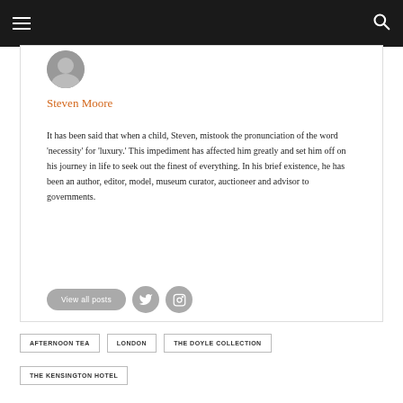Navigation header with hamburger menu and search icon
[Figure (photo): Circular avatar photo of Steven Moore, partially visible at top of card]
Steven Moore
It has been said that when a child, Steven, mistook the pronunciation of the word ‘necessity’ for ‘luxury.’ This impediment has affected him greatly and set him off on his journey in life to seek out the finest of everything. In his brief existence, he has been an author, editor, model, museum curator, auctioneer and advisor to governments.
View all posts
AFTERNOON TEA
LONDON
THE DOYLE COLLECTION
THE KENSINGTON HOTEL